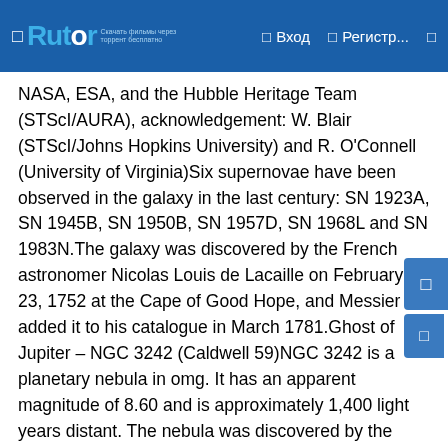☰ Rutor | ☰ Вход | ☰ Регистр... | ☰
NASA, ESA, and the Hubble Heritage Team (STScI/AURA), acknowledgement: W. Blair (STScI/Johns Hopkins University) and R. O'Connell (University of Virginia)Six supernovae have been observed in the galaxy in the last century: SN 1923A, SN 1945B, SN 1950B, SN 1957D, SN 1968L and SN 1983N.The galaxy was discovered by the French astronomer Nicolas Louis de Lacaille on February 23, 1752 at the Cape of Good Hope, and Messier added it to his catalogue in March 1781.Ghost of Jupiter – NGC 3242 (Caldwell 59)NGC 3242 is a planetary nebula in omg. It has an apparent magnitude of 8.60 and is approximately 1,400 light years distant. The nebula was discovered by the German-born British astronomer William Herschel on February 7, 1785.Ghost of Jupiter Nebula (NGC 3242), image: Judy Schmidt (CC BY 2.0)His son John Herschel observed the nebula from the Cape of Good Hope in the 1830s and included it in the 1864 General Catalogue.The nebula is usually called the Ghost of Jupiter or Jupiter's Ghost, and sometimes also the Eye Nebula. It can easily be seen in amateur telescopes.NGC 3109NGC 3109 is a spiral or irregular